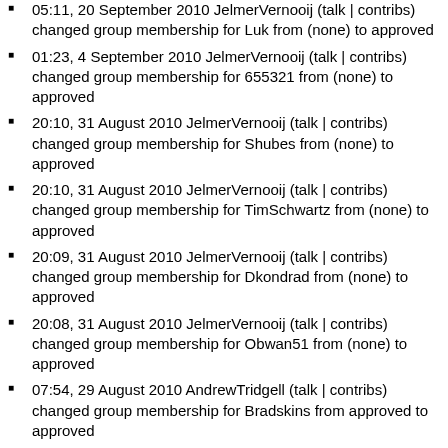05:11, 20 September 2010 JelmerVernooij (talk | contribs) changed group membership for Luk from (none) to approved
01:23, 4 September 2010 JelmerVernooij (talk | contribs) changed group membership for 655321 from (none) to approved
20:10, 31 August 2010 JelmerVernooij (talk | contribs) changed group membership for Shubes from (none) to approved
20:10, 31 August 2010 JelmerVernooij (talk | contribs) changed group membership for TimSchwartz from (none) to approved
20:09, 31 August 2010 JelmerVernooij (talk | contribs) changed group membership for Dkondrad from (none) to approved
20:08, 31 August 2010 JelmerVernooij (talk | contribs) changed group membership for Obwan51 from (none) to approved
07:54, 29 August 2010 AndrewTridgell (talk | contribs) changed group membership for Bradskins from approved to approved
07:54, 29 August 2010 AndrewTridgell (talk | contribs) changed group membership for Bradskins from (none) to approved
23:51, 20 July 2010 JelmerVernooij (talk | contribs) changed group membership for Squoggle from (none) to approved
23:48, 20 July 2010 JelmerVernooij (talk | contribs) changed group membership for Mbeihoffer from (none) to approved
21:36, 28 June 2010 JelmerVernooij (talk | contribs) changed group membership for Jblackwell from (none) to approved